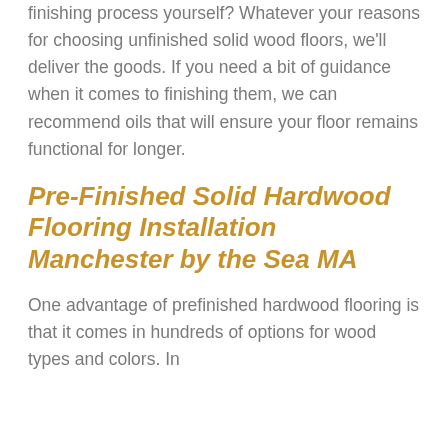finishing process yourself? Whatever your reasons for choosing unfinished solid wood floors, we'll deliver the goods. If you need a bit of guidance when it comes to finishing them, we can recommend oils that will ensure your floor remains functional for longer.
Pre-Finished Solid Hardwood Flooring Installation Manchester by the Sea MA
One advantage of prefinished hardwood flooring is that it comes in hundreds of options for wood types and colors. In